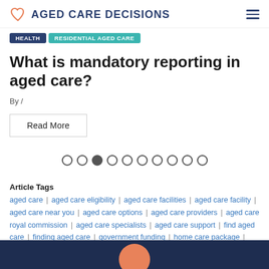AGED CARE DECISIONS
HEALTH | RESIDENTIAL AGED CARE
What is mandatory reporting in aged care?
By /
Read More
Article Tags
aged care | aged care eligibility | aged care facilities | aged care facility | aged care near you | aged care options | aged care providers | aged care royal commission | aged care specialists | aged care support | find aged care | finding aged care | government funding | home care package | residential aged care | searching for aged care